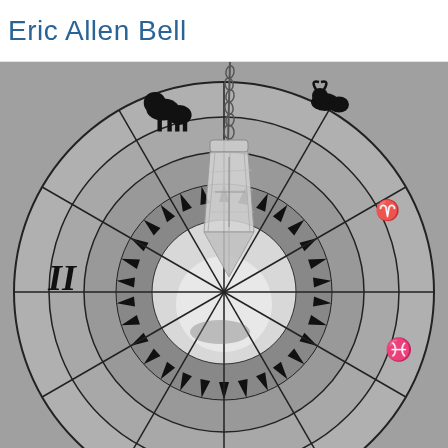Eric Allen Bell
[Figure (photo): A black and white / grayscale photograph showing a crystal pendulum hanging over an astrology zodiac wheel chart. The zodiac wheel features various astrological symbols and constellations including Leo (lion), Taurus (bull), Gemini (II), Pisces, and Aries. The center of the wheel has a starburst/sunburst pattern with a white circular center. The pendulum is a clear/translucent crystal hanging from a chain, positioned in the center of the image above the zodiac wheel.]